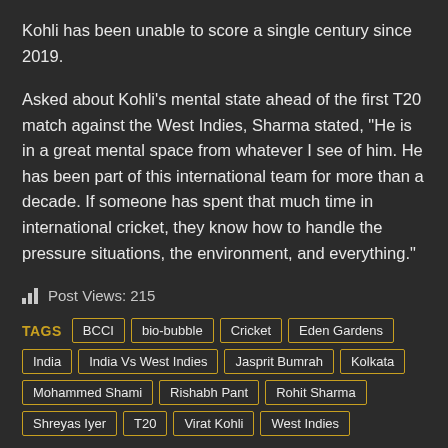Kohli has been unable to score a single century since 2019.
Asked about Kohli’s mental state ahead of the first T20 match against the West Indies, Sharma stated, “He is in a great mental space from whatever I see of him. He has been part of this international team for more than a decade. If someone has spent that much time in international cricket, they know how to handle the pressure situations, the environment, and everything.”
Post Views: 215
TAGS: BCCI, bio-bubble, Cricket, Eden Gardens, India, India Vs West Indies, Jasprit Bumrah, Kolkata, Mohammed Shami, Rishabh Pant, Rohit Sharma, Shreyas Iyer, T20, Virat Kohli, West Indies